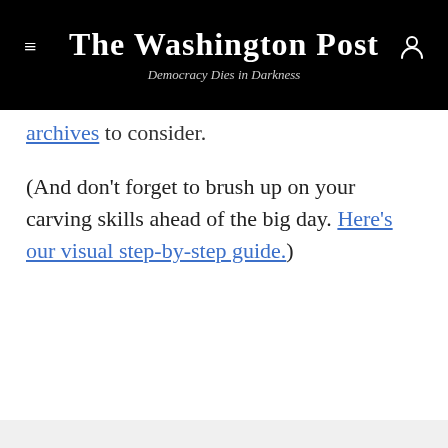The Washington Post — Democracy Dies in Darkness
archives to consider.
(And don't forget to brush up on your carving skills ahead of the big day. Here's our visual step-by-step guide.)